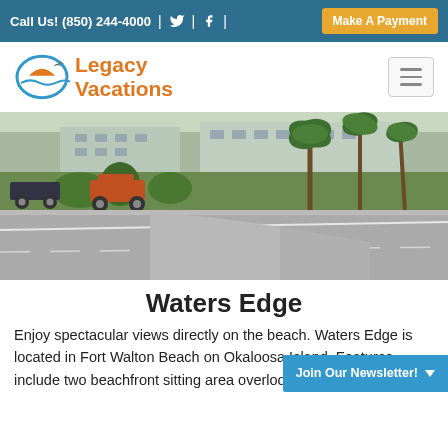Call Us! (850) 244-4000 | [Twitter] | [Facebook] | Make A Payment
[Figure (logo): Legacy Vacations logo with wave and sun graphic and orange text]
[Figure (photo): Outdoor road and parking area with trees, shrubs, green lawn and buildings in background]
Waters Edge
Enjoy spectacular views directly on the beach. Waters Edge is located in Fort Walton Beach on Okaloosa Island. Features include two beachfront sitting area overlooking the Gulf...
Join Our Newsletter!